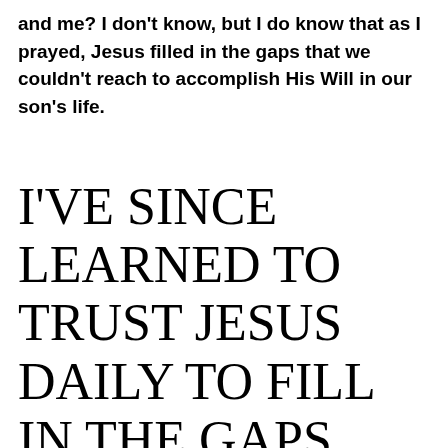and me? I don't know, but I do know that as I prayed, Jesus filled in the gaps that we couldn't reach to accomplish His Will in our son's life.
I'VE SINCE LEARNED TO TRUST JESUS DAILY TO FILL IN THE GAPS FOR ALL THE THINGS I CANNOT DO. AND YOU